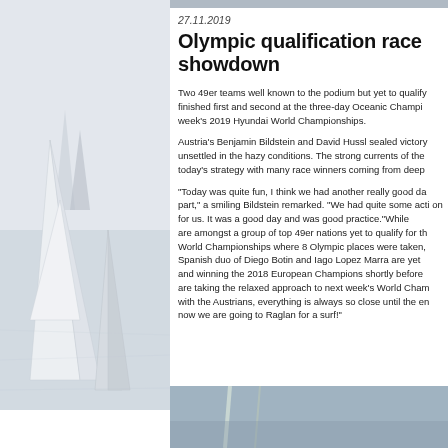[Figure (photo): Sailing boats with white sails in hazy water, grayscale/light blue toned photo on left side of page]
27.11.2019
Olympic qualification race showdown
Two 49er teams well known to the podium but yet to qualify finished first and second at the three-day Oceanic Champ week's 2019 Hyundai World Championships.
Austria's Benjamin Bildstein and David Hussl sealed victor unsettled in the hazy conditions. The strong currents of the today's strategy with many race winners coming from deep
“Today was quite fun, I think we had another really good d part,” a smiling Bildstein remarked. “We had quite some ac on for us. It was a good day and was good practice.”While are amongst a group of top 49er nations yet to qualify for t World Championships where 8 Olympic places were taken, Spanish duo of Diego Botin and Iago Lopez Marra are yet and winning the 2018 European Champions shortly before are taking the relaxed approach to next week's World Cha with the Austrians, everything is always so close until the e now we are going to Raglan for a surf!”
[Figure (photo): Bottom strip showing partial image of sailing equipment]